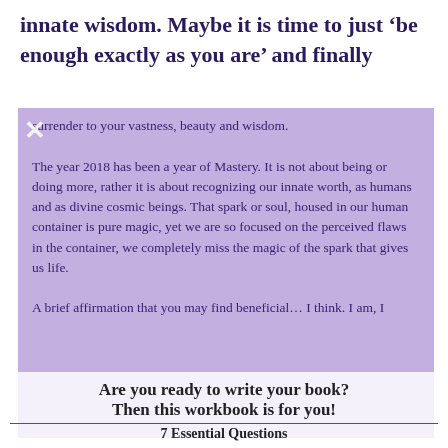innate wisdom. Maybe it is time to just 'be enough exactly as you are' and finally
surrender to your vastness, beauty and wisdom.

The year 2018 has been a year of Mastery. It is not about being or doing more, rather it is about recognizing our innate worth, as humans and as divine cosmic beings. That spark or soul, housed in our human container is pure magic, yet we are so focused on the perceived flaws in the container, we completely miss the magic of the spark that gives us life.

A brief affirmation that you may find beneficial…
Are you ready to write your book?
Then this workbook is for you!
7 Essential Questions